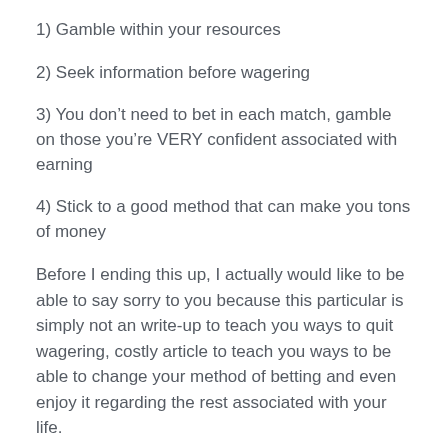1) Gamble within your resources
2) Seek information before wagering
3) You don’t need to bet in each match, gamble on those you’re VERY confident associated with earning
4) Stick to a good method that can make you tons of money
Before I ending this up, I actually would like to be able to say sorry to you because this particular is simply not an write-up to teach you ways to quit wagering, costly article to teach you ways to be able to change your method of betting and even enjoy it regarding the rest associated with your life.
Last but not least, I want in order to remind you once